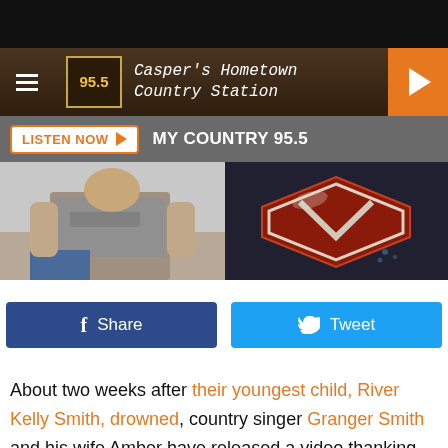[Figure (screenshot): Website header with dark wood-grain background, 95.5 logo, Casper's Hometown Country Station text, hamburger menu, and orange play button]
[Figure (screenshot): Listen Now button bar with orange bordered button and MY COUNTRY 95.5 text on gray background]
[Figure (photo): Two-panel image strip: left shows a person in a gray t-shirt, right shows a red vehicle emblem/logo]
[Figure (screenshot): Social sharing buttons: dark blue Facebook Share button and light blue Twitter Tweet button]
About two weeks after their youngest child, River Kelly Smith, drowned, country singer Granger Smith and his wife Amber have released a video thanking fans, his country artist peers and many others for the love and support they've shown their family as they navigate their grief. In the clip, the couple also